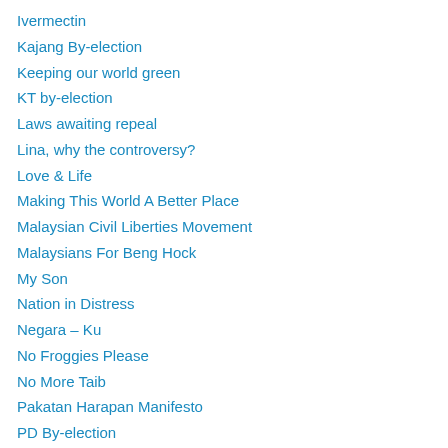Ivermectin
Kajang By-election
Keeping our world green
KT by-election
Laws awaiting repeal
Lina, why the controversy?
Love & Life
Making This World A Better Place
Malaysian Civil Liberties Movement
Malaysians For Beng Hock
My Son
Nation in Distress
Negara – Ku
No Froggies Please
No More Taib
Pakatan Harapan Manifesto
PD By-election
People Are The Boss
People Power
Polls